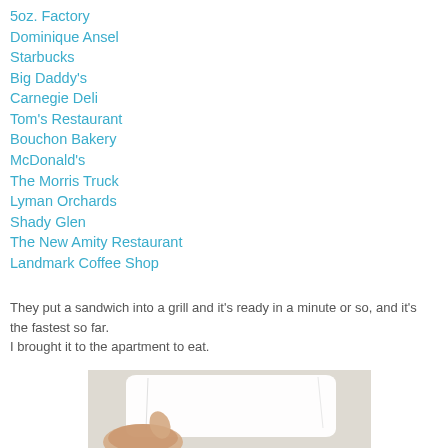5oz. Factory
Dominique Ansel
Starbucks
Big Daddy's
Carnegie Deli
Tom's Restaurant
Bouchon Bakery
McDonald's
The Morris Truck
Lyman Orchards
Shady Glen
The New Amity Restaurant
Landmark Coffee Shop
They put a sandwich into a grill and it's ready in a minute or so, and it's the fastest so far.
I brought it to the apartment to eat.
[Figure (photo): A hand holding a white folded fabric or cloth item, photographed on a light beige/gray surface.]